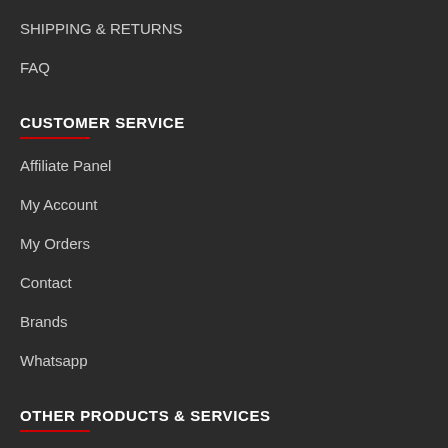SHIPPING & RETURNS
FAQ
CUSTOMER SERVICE
Affiliate Panel
My Account
My Orders
Contact
Brands
Whatsapp
OTHER PRODUCTS & SERVICES
Tlg Gaming Classified (Buy/Sell Used Pc Parts)
Tlg Gaming Link Shortener